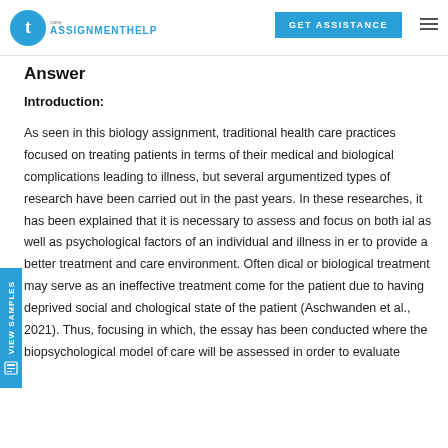TAssignmentHelp | GET ASSISTANCE
Answer
Introduction:
As seen in this biology assignment, traditional health care practices focused on treating patients in terms of their medical and biological complications leading to illness, but several argumentized types of research have been carried out in the past years. In these researches, it has been explained that it is necessary to assess and focus on both ial as well as psychological factors of an individual and illness in er to provide a better treatment and care environment. Often dical or biological treatment may serve as an ineffective treatment come for the patient due to having deprived social and chological state of the patient (Aschwanden et al., 2021). Thus, focusing in which, the essay has been conducted where the biopsychological model of care will be assessed in order to evaluate